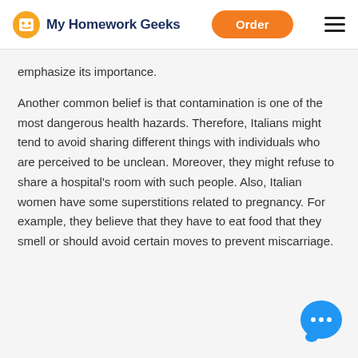My Homework Geeks | Order
emphasize its importance.
Another common belief is that contamination is one of the most dangerous health hazards. Therefore, Italians might tend to avoid sharing different things with individuals who are perceived to be unclean. Moreover, they might refuse to share a hospital's room with such people. Also, Italian women have some superstitions related to pregnancy. For example, they believe that they have to eat food that they smell or should avoid certain moves to prevent miscarriage.